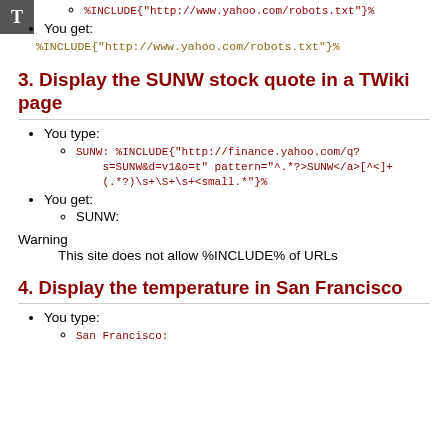[Figure (other): Gray square icon with letter T]
%INCLUDE{"http://www.yahoo.com/robots.txt"}%
You get:
%INCLUDE{"http://www.yahoo.com/robots.txt"}%
3. Display the SUNW stock quote in a TWiki page
You type:
SUNW: %INCLUDE{"http://finance.yahoo.com/q?s=SUNW&d=v1&o=t" pattern="^.*?>SUNW</a>[^<]+(.*?)\s+\S+\s+<small.*"}%
You get:
SUNW:
Warning
This site does not allow %INCLUDE% of URLs
4. Display the temperature in San Francisco
You type:
San Francisco: